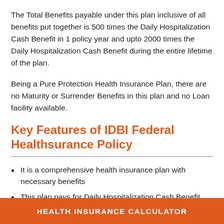The Total Benefits payable under this plan inclusive of all benefits put together is 500 times the Daily Hospitalization Cash Benefit in 1 policy year and upto 2000 times the Daily Hospitalization Cash Benefit during the entire lifetime of the plan.
Being a Pure Protection Health Insurance Plan, there are no Maturity or Surrender Benefits in this plan and no Loan facility available.
Key Features of IDBI Federal Healthsurance Policy
It is a comprehensive health insurance plan with necessary benefits
This plan pays for Daily Hospitalization Cash Benefit without original bills
HEALTH INSURANCE CALCULATOR